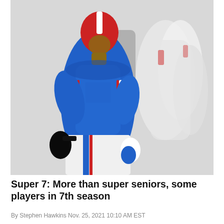[Figure (photo): A football player in a blue, red, and white uniform with a red helmet, crouching or moving during a game. Background shows other players in white uniforms.]
Super 7: More than super seniors, some players in 7th season
By Stephen Hawkins Nov. 25, 2021 10:10 AM EST